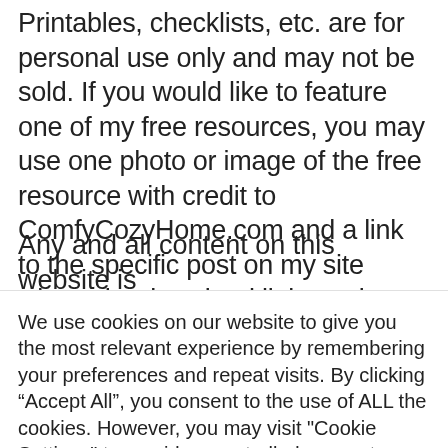Printables, checklists, etc. are for personal use only and may not be sold. If you would like to feature one of my free resources, you may use one photo or image of the free resource with credit to ComfyCozyHome.com and a link to the specific post on my site where the download link can be found. You may not provide a direct link to the resource file.
Any and all content on this website is
We use cookies on our website to give you the most relevant experience by remembering your preferences and repeat visits. By clicking “Accept All”, you consent to the use of ALL the cookies. However, you may visit "Cookie Settings" to provide a controlled consent.